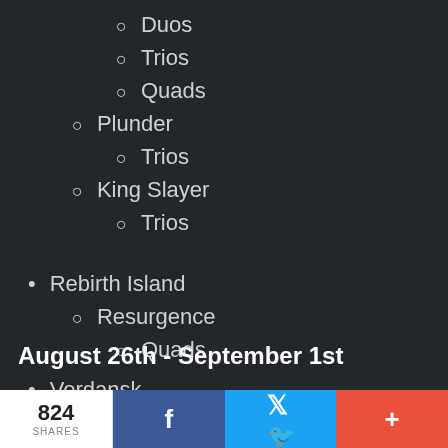Duos
Trios
Quads
Plunder
Trios
King Slayer
Trios
Rebirth Island
Resurgence
Quads
August 26th - September 1st
Verdansk
824 SHARES